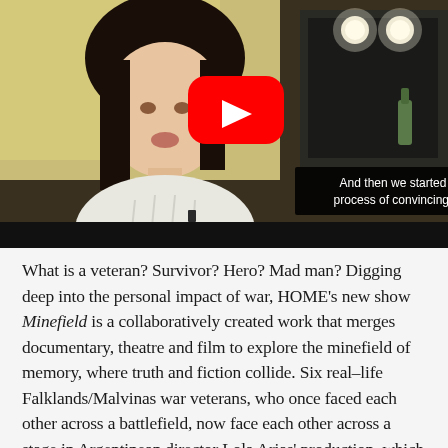[Figure (screenshot): Video thumbnail showing a young woman with dark bangs sitting in what appears to be a backstage dressing room with mirrors and lights. A YouTube play button overlay is visible. Subtitle text reads: 'And then we started a long process of convincing people']
What is a veteran? Survivor? Hero? Mad man? Digging deep into the personal impact of war, HOME's new show Minefield is a collaboratively created work that merges documentary, theatre and film to explore the minefield of memory, where truth and fiction collide. Six real–life Falklands/Malvinas war veterans, who once faced each other across a battlefield, now face each other across a stage in Argentinean director Lola Arias' production, which comes to HOME as part of the